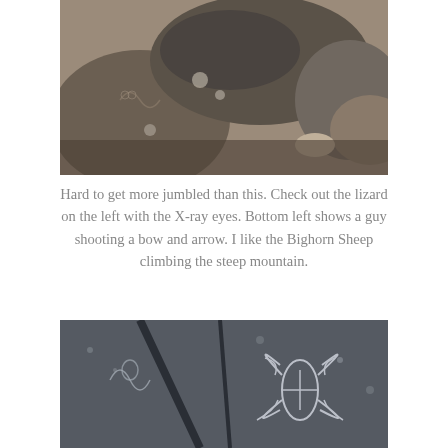[Figure (photo): Photograph of jumbled rocks with petroglyphs including a lizard with X-ray eyes, a figure shooting a bow and arrow, and a Bighorn Sheep climbing a steep mountain.]
Hard to get more jumbled than this. Check out the lizard on the left with the X-ray eyes. Bottom left shows a guy shooting a bow and arrow. I like the Bighorn Sheep climbing the steep mountain.
[Figure (photo): Close-up photograph of dark rock surface with carved petroglyphs showing detailed incised figures, including a large butterfly or insect-like figure with geometric patterns.]